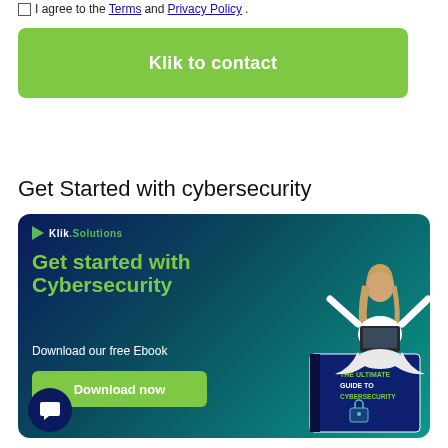I agree to the Terms and Privacy Policy.
Klik to contact
Get Started with cybersecurity
[Figure (infographic): Klik.Solutions banner ad with dark blue/teal gradient background. Left side shows 'Get started with Cybersecurity' in green bold text, 'Download our free Ebook' in white, and a green 'Download now' button. Right side shows a person sitting cross-legged on top of a book titled 'THE ULTIMATE GUIDE TO CYBERSECURITY' with a lock icon.]